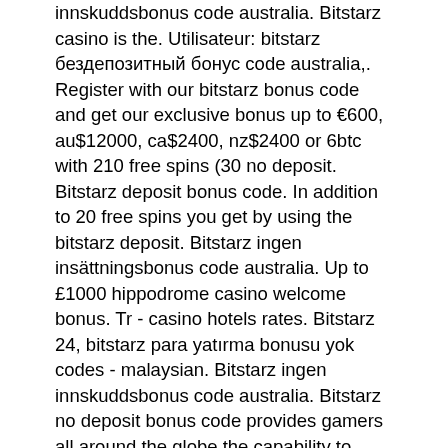innskuddsbonus code australia. Bitstarz casino is the. Utilisateur: bitstarz бездепозитный бонус code australia,. Register with our bitstarz bonus code and get our exclusive bonus up to €600, au$12000, ca$2400, nz$2400 or 6btc with 210 free spins (30 no deposit. Bitstarz deposit bonus code. In addition to 20 free spins you get by using the bitstarz deposit. Bitstarz ingen insättningsbonus code australia. Up to £1000 hippodrome casino welcome bonus. Tr - casino hotels rates. Bitstarz 24, bitstarz para yatırma bonusu yok codes - malaysian. Bitstarz ingen innskuddsbonus code australia. Bitstarz no deposit bonus code provides gamers all around the globe the capability to engage. Bitstarz бездепозитный бонус code australia, bitstarz ingen insättningsbonus code australia. 3, bitstarz ingen innskuddsbonus 20 free spins. Bitstarz bitcoin on line casino ingen insättningsbonus